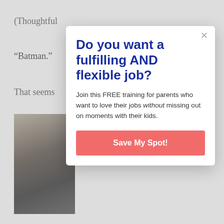(Thoughtful
“Batman.”
That seems
[Figure (photo): Black and white photo of a person seen from behind, looking out at bare winter trees]
Do you want a fulfilling AND flexible job?
Join this FREE training for parents who want to love their jobs without missing out on moments with their kids.
Save My Spot!